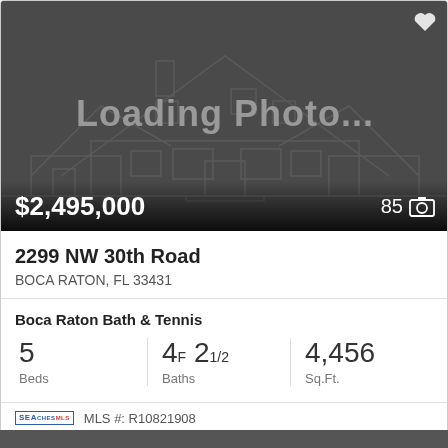[Figure (photo): Loading photo placeholder with house outline silhouette on dark gray background. Shows '$2,495,000' price in white at bottom left and '85' with camera icon at bottom right.]
2299 NW 30th Road
BOCA RATON, FL 33431
Boca Raton Bath & Tennis
5 Beds | 4F 21/2 Baths | 4,456 Sq.Ft.
MLS #: R10821908